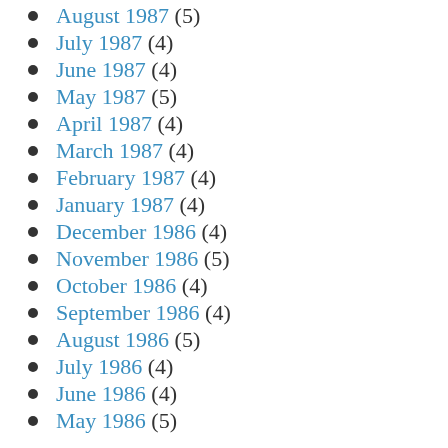August 1987 (5)
July 1987 (4)
June 1987 (4)
May 1987 (5)
April 1987 (4)
March 1987 (4)
February 1987 (4)
January 1987 (4)
December 1986 (4)
November 1986 (5)
October 1986 (4)
September 1986 (4)
August 1986 (5)
July 1986 (4)
June 1986 (4)
May 1986 (5)